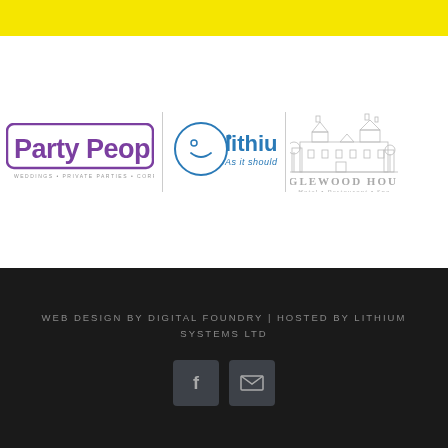[Figure (logo): Yellow banner strip at top of page]
[Figure (logo): Party People logo — purple bold text in rounded rectangle border, with tagline WEDDINGS • PRIVATE PARTIES • CORPORATE EVENTS]
[Figure (logo): Lithium logo — circular icon with smiling face and blue Lithium wordmark, tagline: As it should be]
[Figure (logo): Inglewood House Hotel • Restaurant • Spa logo — grey building illustration with text]
WEB DESIGN BY DIGITAL FOUNDRY | HOSTED BY LITHIUM SYSTEMS LTD
[Figure (illustration): Facebook icon button (dark grey square) and email envelope icon button (dark grey square)]